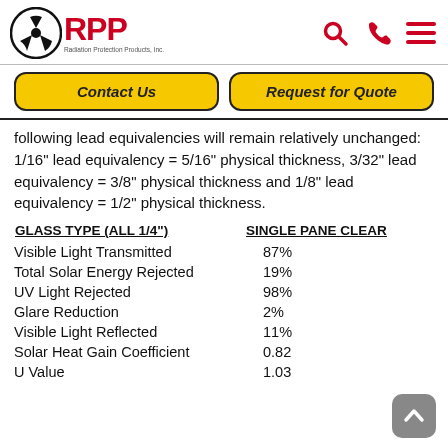RPP Radiation Protection Products, Inc. — Contact Us | Request for Quote
following lead equivalencies will remain relatively unchanged: 1/16" lead equivalency = 5/16" physical thickness, 3/32" lead equivalency = 3/8" physical thickness and 1/8" lead equivalency = 1/2" physical thickness.
| GLASS TYPE (ALL 1/4") | SINGLE PANE CLEAR |
| --- | --- |
| Visible Light Transmitted | 87% |
| Total Solar Energy Rejected | 19% |
| UV Light Rejected | 98% |
| Glare Reduction | 2% |
| Visible Light Reflected | 11% |
| Solar Heat Gain Coefficient | 0.82 |
| U Value | 1.03 |